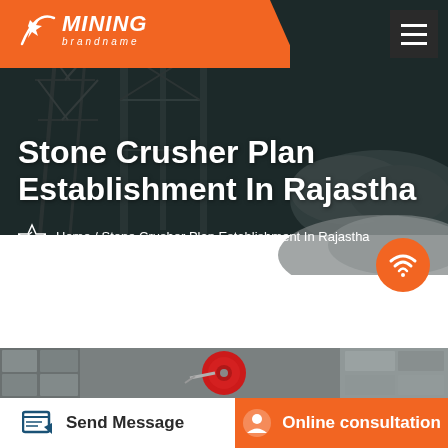[Figure (screenshot): Website header with orange Mining brandname logo on left and hamburger menu button on right dark background]
Stone Crusher Plan Establishment In Rajastha
Home / Stone Crusher Plan Establishment In Rajastha
[Figure (photo): Photo of stone crusher machinery - red circular wheel/flywheel visible with concrete walls and stone aggregate]
Send Message
Online consultation